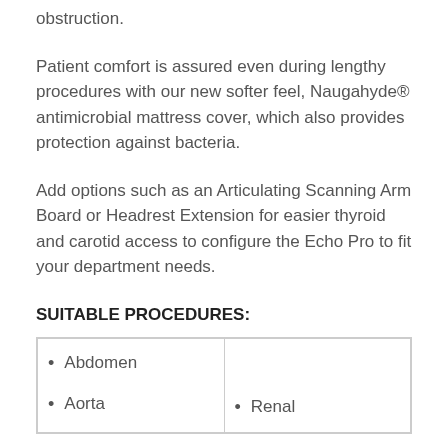obstruction.
Patient comfort is assured even during lengthy procedures with our new softer feel, Naugahyde® antimicrobial mattress cover, which also provides protection against bacteria.
Add options such as an Articulating Scanning Arm Board or Headrest Extension for easier thyroid and carotid access to configure the Echo Pro to fit your department needs.
SUITABLE PROCEDURES:
| Abdomen |  |
| Aorta | Renal |